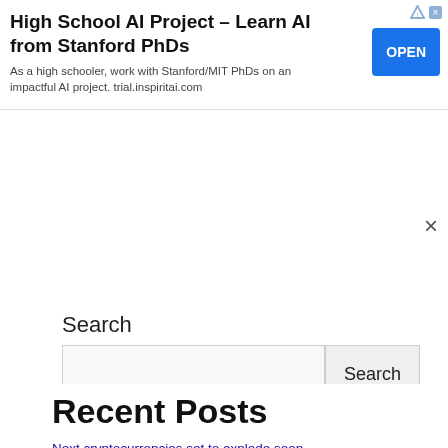[Figure (screenshot): Advertisement banner: 'High School AI Project - Learn AI from Stanford PhDs' with an OPEN button and small ad icons in top right corner]
Search
Search input field with Search button
Recent Posts
Next cryptocurrencies set to explode soon – InsideBitcoins.com
Permission.io collaborates with Unstoppable to provide community NFT domains – InsideBitcoins.com